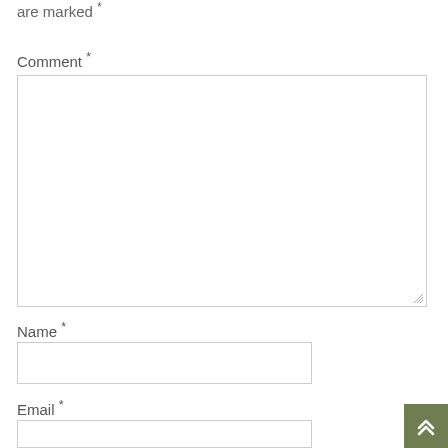are marked *
Comment *
[Figure (other): Comment textarea input box]
Name *
[Figure (other): Name text input field]
Email *
[Figure (other): Email text input field]
[Figure (other): Scroll-to-top button with double chevron up arrow, olive green background]